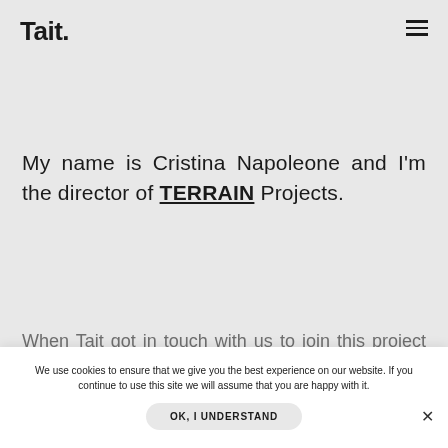Tait.
My name is Cristina Napoleone and I'm the director of TERRAIN Projects.
When Tait got in touch with us to join this project for Melbourne Design Week that features their new Xylem collection by leading Australian designer, Adam ... ear that the vision Tait could see ahead required a deeper
We use cookies to ensure that we give you the best experience on our website. If you continue to use this site we will assume that you are happy with it. OK, I UNDERSTAND